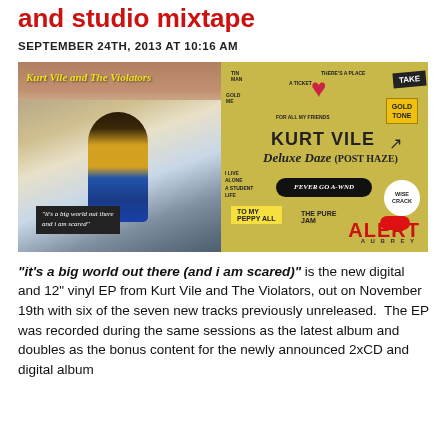and studio mixtape
SEPTEMBER 24TH, 2013 AT 10:16 AM
[Figure (photo): Two album covers side by side: left is Kurt Vile and The Violators showing an upside-down person in a courtyard; right is Kurt Vile Deluxe Daze (Post Haze) with illustrated sticker-style artwork on a yellow-green background.]
"it's a big world out there (and i am scared)" is the new digital and 12" vinyl EP from Kurt Vile and The Violators, out on November 19th with six of the seven new tracks previously unreleased.  The EP was recorded during the same sessions as the latest album and doubles as the bonus content for the newly announced 2xCD and digital album